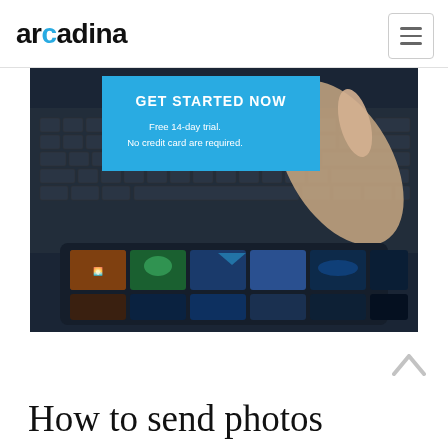arcadina
[Figure (screenshot): Hero banner showing a laptop with a hand touching a tablet screen displaying photos. Blue overlay box with 'GET STARTED NOW' text and subtext 'Free 14-day trial. No credit card are required.']
How to send photos